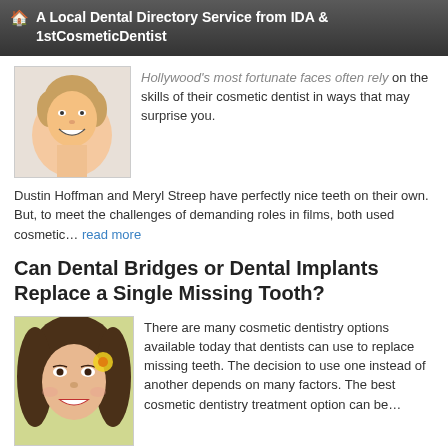🏠 A Local Dental Directory Service from IDA & 1stCosmeticDentist
Hollywood's most fortunate faces often rely on the skills of their cosmetic dentist in ways that may surprise you.
Dustin Hoffman and Meryl Streep have perfectly nice teeth on their own. But, to meet the challenges of demanding roles in films, both used cosmetic… read more
Can Dental Bridges or Dental Implants Replace a Single Missing Tooth?
There are many cosmetic dentistry options available today that dentists can use to replace missing teeth. The decision to use one instead of another depends on many factors. The best cosmetic dentistry treatment option can be… read more